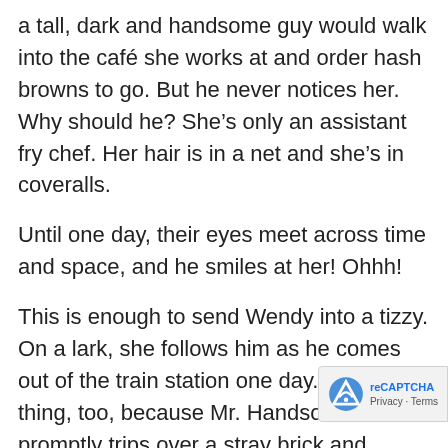a tall, dark and handsome guy would walk into the café she works at and order hash browns to go. But he never notices her. Why should he? She's only an assistant fry chef. Her hair is in a net and she's in coveralls.
Until one day, their eyes meet across time and space, and he smiles at her! Ohhh!
This is enough to send Wendy into a tizzy. On a lark, she follows him as he comes out of the train station one day. Good thing, too, because Mr. Handsome promptly trips over a stray brick and knocks himself into a coma.
A distraught Wendy mutters, “You can’t die on me. We’re going to get married and all, now that I’ve finally met you.” She doesn’t mean for anyone